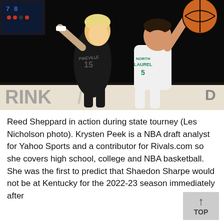[Figure (photo): Reed Sheppard in action during a basketball game at the state tourney. A player in a white North Laurel jersey reaches up for a layup while a Pikeville player #15 in black tries to defend. A basketball is visible at the top right.]
Reed Sheppard in action during state tourney (Les Nicholson photo). Krysten Peek is a NBA draft analyst for Yahoo Sports and a contributor for Rivals.com so she covers high school, college and NBA basketball. She was the first to predict that Shaedon Sharpe would not be at Kentucky for the 2022-23 season immediately after